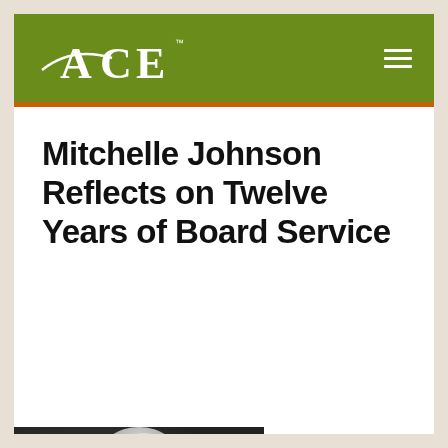[Figure (logo): ACE (American Council on Education) logo in white on green header bar]
Mitchelle Johnson Reflects on Twelve Years of Board Service
[Figure (photo): Black and white portrait photograph of Mitchelle Johnson, showing head and shoulders, grayscale tones]
After serving as a board